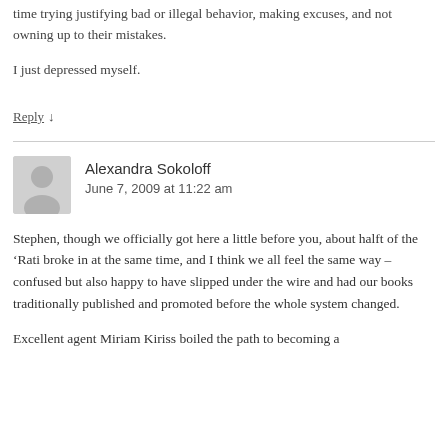time trying justifying bad or illegal behavior, making excuses, and not owning up to their mistakes.
I just depressed myself.
Reply ↓
Alexandra Sokoloff
June 7, 2009 at 11:22 am
Stephen, though we officially got here a little before you, about halft of the ‘Rati broke in at the same time, and I think we all feel the same way – confused but also happy to have slipped under the wire and had our books traditionally published and promoted before the whole system changed.
Excellent agent Miriam Kiriss boiled the path to becoming a